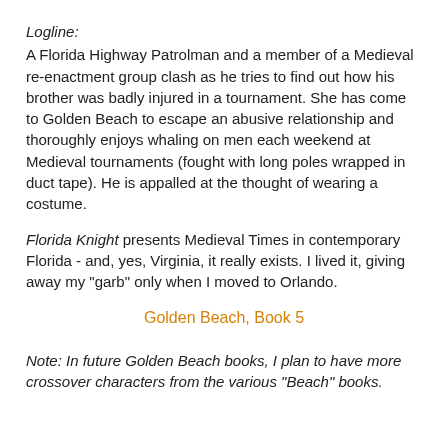Logline:
A Florida Highway Patrolman and a member of a Medieval re-enactment group clash as he tries to find out how his brother was badly injured in a tournament. She has come to Golden Beach to escape an abusive relationship and thoroughly enjoys whaling on men each weekend at Medieval tournaments (fought with long poles wrapped in duct tape). He is appalled at the thought of wearing a costume.
Florida Knight presents Medieval Times in contemporary Florida - and, yes, Virginia, it really exists. I lived it, giving away my "garb" only when I moved to Orlando.
Golden Beach, Book 5
Note: In future Golden Beach books, I plan to have more crossover characters from the various "Beach" books.